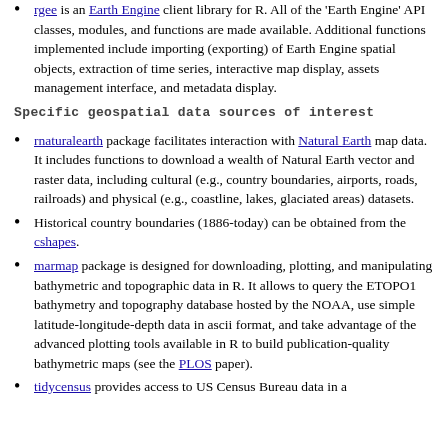rgee is an Earth Engine client library for R. All of the 'Earth Engine' API classes, modules, and functions are made available. Additional functions implemented include importing (exporting) of Earth Engine spatial objects, extraction of time series, interactive map display, assets management interface, and metadata display.
Specific geospatial data sources of interest
rnaturalearth package facilitates interaction with Natural Earth map data. It includes functions to download a wealth of Natural Earth vector and raster data, including cultural (e.g., country boundaries, airports, roads, railroads) and physical (e.g., coastline, lakes, glaciated areas) datasets.
Historical country boundaries (1886-today) can be obtained from the cshapes.
marmap package is designed for downloading, plotting, and manipulating bathymetric and topographic data in R. It allows to query the ETOPO1 bathymetry and topography database hosted by the NOAA, use simple latitude-longitude-depth data in ascii format, and take advantage of the advanced plotting tools available in R to build publication-quality bathymetric maps (see the PLOS paper).
tidycensus provides access to US Census Bureau data in a